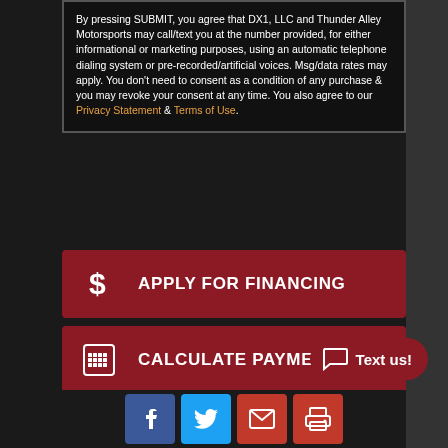By pressing SUBMIT, you agree that DX1, LLC and Thunder Alley Motorsports may call/text you at the number provided, for either informational or marketing purposes, using an automatic telephone dialing system or pre-recorded/artificial voices. Msg/data rates may apply. You don't need to consent as a condition of any purchase & you may revoke your consent at any time. You also agree to our Privacy Statement & Terms of Use.
$ APPLY FOR FINANCING
CALCULATE PAYMENT
SCHEDULE A TEST RIDE
COMPARE MODELS
INSURANCE QUOTE
[Figure (screenshot): Text us! chat bubble button in dark red/maroon]
[Figure (infographic): Social media icons row: Facebook (blue), Twitter (blue), Email (red), Print (red)]